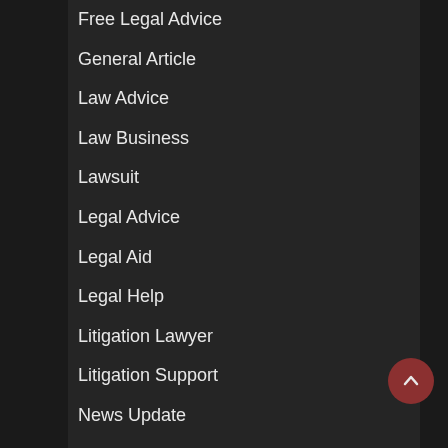Free Legal Advice
General Article
Law Advice
Law Business
Lawsuit
Legal Advice
Legal Aid
Legal Help
Litigation Lawyer
Litigation Support
News Update
Personal Injury Claims